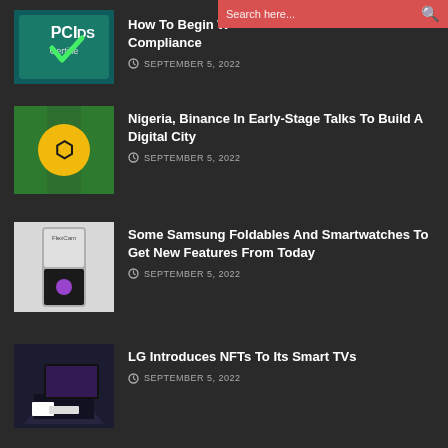How To Begin With PCI DSS Compliance — SEPTEMBER 5, 2022
Nigeria, Binance In Early-Stage Talks To Build A Digital City — SEPTEMBER 5, 2022
Some Samsung Foldables And Smartwatches To Get New Features From Today — SEPTEMBER 5, 2022
LG Introduces NFTs To Its Smart TVs — SEPTEMBER 5, 2022